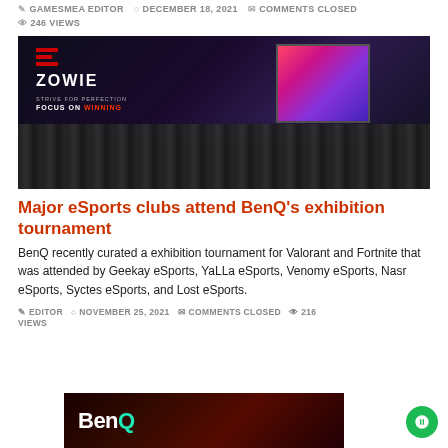GAMESMEA EDITOR   DECEMBER 18, 2021   COMMENTS CLOSED   246 VIEWS
[Figure (photo): Group photo at a ZOWIE/BenQ esports event. Large crowd of participants standing together in front of a big screen showing esports action. ZOWIE logo visible on left with tagline FOCUS ON WINNING.]
Major eSports clubs attend BenQ’s exhibition tournament
BenQ recently curated a exhibition tournament for Valorant and Fortnite that was attended by Geekay eSports, YaLLa eSports, Venomy eSports, Nasr eSports, Syctes eSports, and Lost eSports.
EDITOR   NOVEMBER 25, 2021   COMMENTS CLOSED   216 VIEWS
[Figure (photo): BenQ logo on a dark red/orange background, partial image visible at bottom of page.]